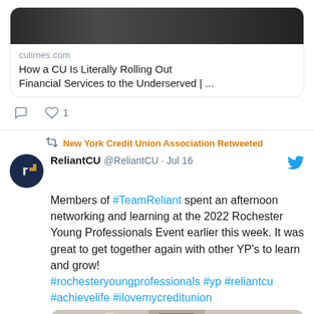[Figure (screenshot): Link card showing a photo and article preview from cutimes.com titled 'How a CU Is Literally Rolling Out Financial Services to the Underserved | ...']
cutimes.com
How a CU Is Literally Rolling Out Financial Services to the Underserved | ...
1 like
New York Credit Union Association Retweeted
ReliantCU @ReliantCU · Jul 16
Members of #TeamReliant spent an afternoon networking and learning at the 2022 Rochester Young Professionals Event earlier this week. It was great to get together again with other YP's to learn and grow! #rochesteryoungprofessionals #yp #reliantcu #achievelife #ilovemycreditunion
[Figure (photo): Group photo of young professionals at the 2022 Rochester Young Professionals Event, showing several people standing together indoors]